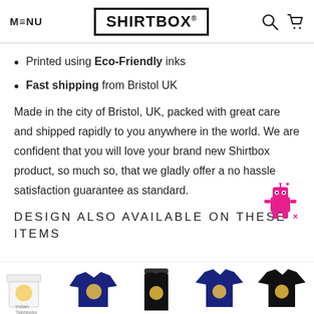MENU | SHIRTBOX® | [search icon] [cart icon]
Printed using Eco-Friendly inks
Fast shipping from Bristol UK
Made in the city of Bristol, UK, packed with great care and shipped rapidly to you anywhere in the world. We are confident that you will love your brand new Shirtbox product, so much so, that we gladly offer a no hassle satisfaction guarantee as standard.
DESIGN ALSO AVAILABLE ON THESE ITEMS
[Figure (photo): Row of product thumbnail images showing various items with a chicken/food design: a box/mug product, a dark sweatshirt, an apron, a dark t-shirt, and a black t-shirt.]